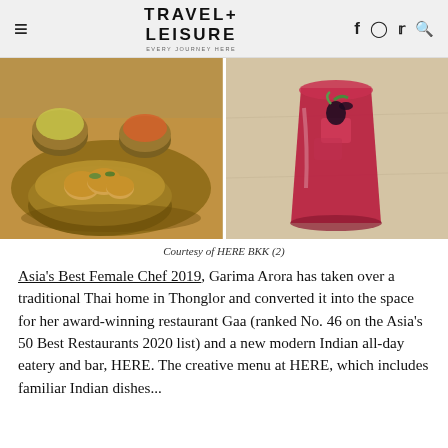TRAVEL+ LEISURE
[Figure (photo): Two food/drink photos side by side: left shows golden fried dumplings in a bronze bowl with small bowls of sauces on a wooden board; right shows a deep red cocktail in a rocks glass with ice and dark garnish on a light stone surface.]
Courtesy of HERE BKK (2)
Asia's Best Female Chef 2019, Garima Arora has taken over a traditional Thai home in Thonglor and converted it into the space for her award-winning restaurant Gaa (ranked No. 46 on the Asia's 50 Best Restaurants 2020 list) and a new modern Indian all-day eatery and bar, HERE. The creative menu at HERE, which includes familiar Indian dishes...